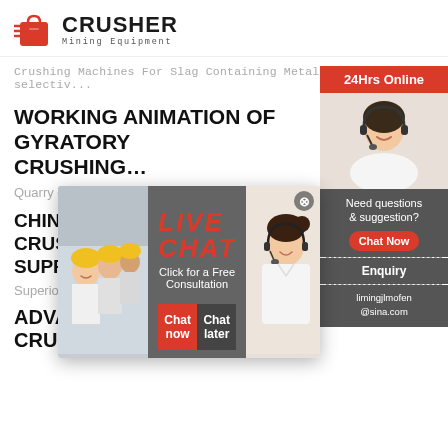[Figure (logo): Crusher Mining Equipment logo with red shopping bag icon and bold CRUSHER text]
Crushing Machines For Slag Containing Metals. The selectiv...
WORKING ANIMATION OF GYRATORY CRUSHER
Quarry crus...
[Figure (infographic): Live Chat popup overlay with workers photo, red LIVE CHAT heading, 'Click for a Free Consultation', Chat now and Chat later buttons]
CHINA SUPERIOR GYRATORY CRUSHER MANUFACTURERS, SUPPLIERS ...
Superior Gyratory Crusher. Superior gyratory cr...
[Figure (infographic): Right sidebar with 24Hrs Online banner, female customer service agent photo, Need questions & suggestion, Chat Now button, Enquiry, limingjlmofen@sina.com]
ADVANTAGE OF GYRATORY CRUSHER